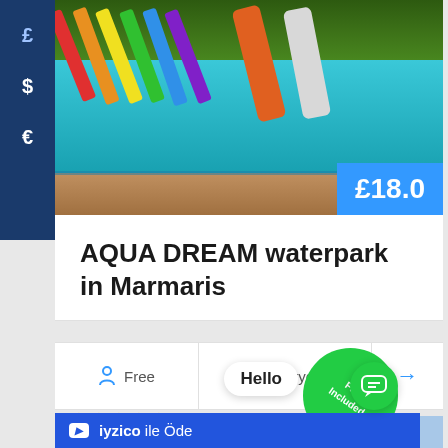[Figure (photo): Waterpark photo showing colorful water slides and a pool with a child, outdoor setting with trees]
£18.0
AQUA DREAM waterpark in Marmaris
Free
Everyday
[Figure (photo): Partially visible second listing card with star ratings and excursions-marmaris watermark]
Hello
iyzico ile Öde